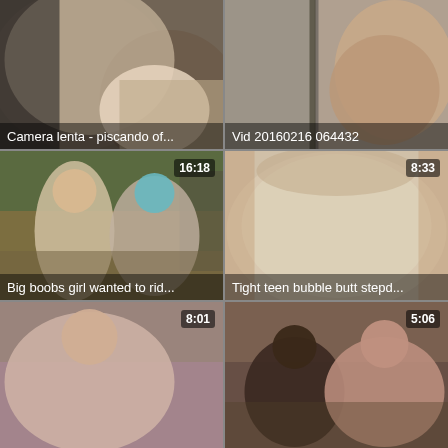[Figure (photo): Close-up photo thumbnail, no duration shown]
[Figure (photo): Photo thumbnail, no duration shown]
[Figure (photo): Outdoor scene with two people near hay bales, duration 16:18]
[Figure (photo): Close-up photo, duration 8:33]
[Figure (photo): Couch scene, duration 8:01]
[Figure (photo): Two people on a couch, duration 5:06]